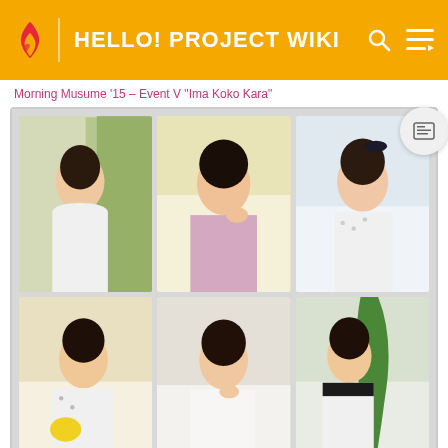HELLO! PROJECT WIKI
Morning Musume '15 – Event V "Ima Koko Kara"
[Figure (photo): A 2x3 grid of individual portrait photos of six young Japanese women, each posing against light backgrounds. Top row: a girl in white top against green plant background; a girl leaning on hand smiling in floral dress; a girl in white polka-dot top with hair bow. Bottom row: a girl in white top holding a yellow fruit; a girl in white ruffled top touching chin; a girl in black-collared white top next to a large green plant leaf.]